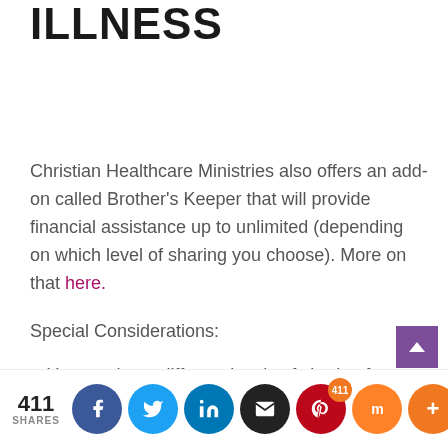ILLNESS
Christian Healthcare Ministries also offers an add-on called Brother's Keeper that will provide financial assistance up to unlimited (depending on which level of sharing you choose). More on that here.
Special Considerations:
You can have different levels of sharing for each unit in your household. So let's say you've got a family member that f…
411 SHARES | Social share icons: Facebook, Twitter, LinkedIn, Email, Pinterest (411), Mix, +